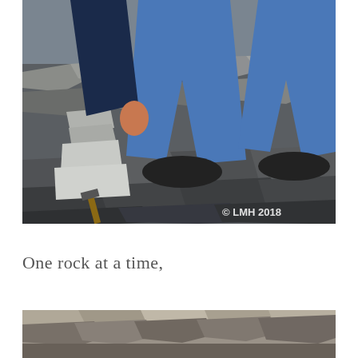[Figure (photo): A person wearing blue jeans and dark shoes standing on a rocky surface covered with flat dark stones and slate fragments. The person's lower body is visible, and they appear to be pointing down at a rock formation or cairn on the left. A hammer is visible on the ground. A watermark reads '© LMH 2018' in the lower right corner.]
One rock at a time,
[Figure (photo): A rocky terrain or landscape, showing an assortment of flat stones and rocks on the ground, partially cropped at the bottom of the page.]